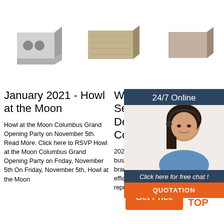[Figure (photo): Three brick/block product images side by side: grey perforated brick, sandy/tan textured block, and brown/taupe smooth brick]
January 2021 - Howl at the Moon
Howl at the Moon Columbus Grand Opening Party on November 5th. Read More. Click here to RSVP Howl at the Moon Columbus Grand Opening Party on Friday, November 5th On Friday, November 5th, Howl at the Moon
Web Development Services - Web Development Company
2021-11-30u2002·u2002Your business website represents your brand. Therefore, its functional efficiency is important for your market reputation. Our web
(PDF) Gram Lang Work GRA
Acade platfor acaden share n papers.
[Figure (screenshot): 24/7 Online chat widget with female agent wearing headset, 'Click here for free chat!' text, and orange QUOTATION button]
[Figure (infographic): Orange 'Get Price' button and orange TOP scroll-to-top button with dots pattern]